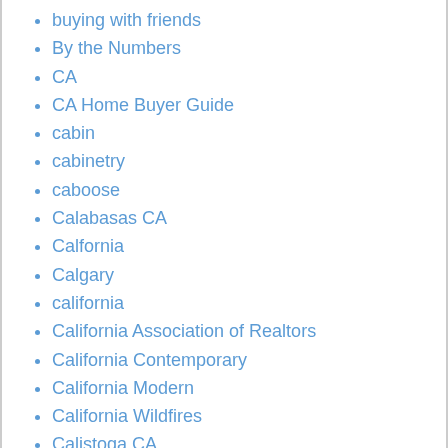buying with friends
By the Numbers
CA
CA Home Buyer Guide
cabin
cabinetry
caboose
Calabasas CA
Calfornia
Calgary
california
California Association of Realtors
California Contemporary
California Modern
California Wildfires
Calistoga CA
Callahan FL
Calvin Klein
Camarillo CA